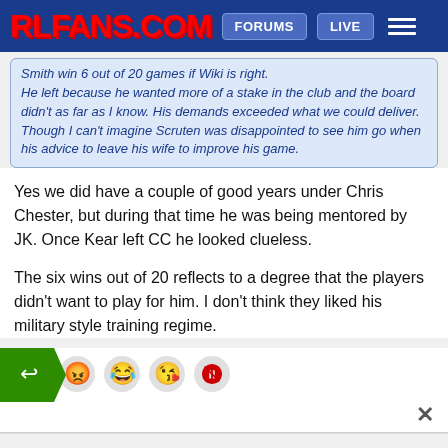RLFANS.COM | FORUMS | LIVE
Smith win 6 out of 20 games if Wiki is right.
He left because he wanted more of a stake in the club and the board didn't as far as I know. His demands exceeded what we could deliver.
Though I can't imagine Scruten was disappointed to see him go when his advice to leave his wife to improve his game.
Yes we did have a couple of good years under Chris Chester, but during that time he was being mentored by JK. Once Kear left CC he looked clueless.
The six wins out of 20 reflects to a degree that the players didn't want to play for him. I don't think they liked his military style training regime.
Re: Relegation Thoughts